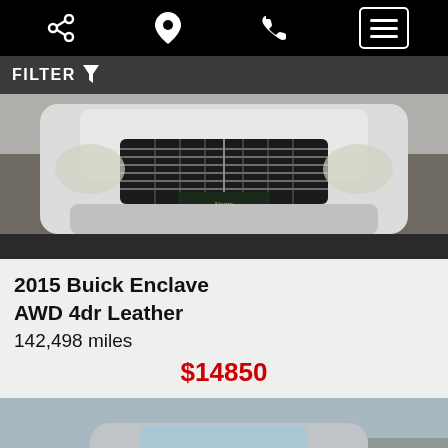Navigation bar with share, location, phone, and menu icons
FILTER
[Figure (photo): Front view of a white 2015 Buick Enclave showing the grille and front fascia, taken from a low angle in a parking lot]
2015 Buick Enclave AWD 4dr Leather
142,498 miles
$14850
[Figure (photo): Front view of a silver Cadillac SRX in a car dealership lot with other vehicles and buildings visible in the background]